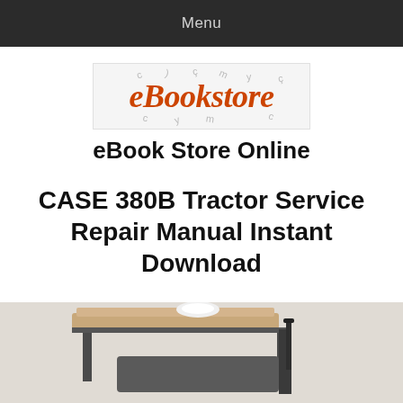Menu
[Figure (logo): eBookstore logo with orange italic text on light gray background with scattered characters]
eBook Store Online
CASE 380B Tractor Service Repair Manual Instant Download
[Figure (photo): Photograph of a CASE 380B tractor, showing the cab canopy and frame from below/side angle]